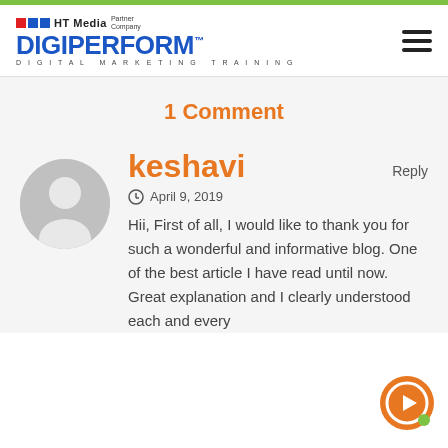DigiPerform - Digital Marketing Training (HT Media Partner Company)
1 Comment
keshavi
Reply
April 9, 2019
Hii, First of all, I would like to thank you for such a wonderful and informative blog. One of the best article I have read until now. Great explanation and I clearly understood each and every